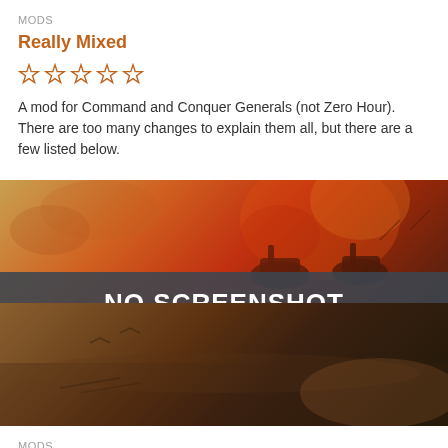MODS
Really Mixed
[Figure (other): Five empty star rating icons in orange outline]
A mod for Command and Conquer Generals (not Zero Hour). There are too many changes to explain them all, but there are a few listed below.
[Figure (screenshot): No Screenshot placeholder image with military/war themed background showing tanks and explosions. A dark semi-transparent banner across the middle reads NO SCREENSHOT in white bold uppercase text.]
MODS
For the Fly Boys v1.5